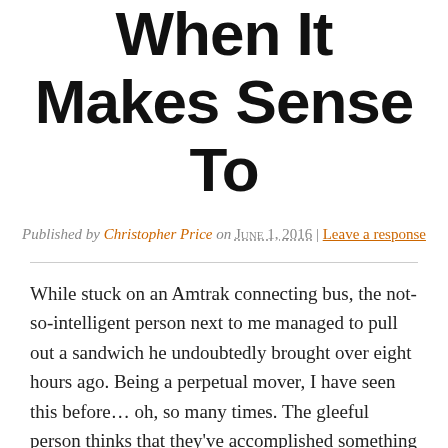When It Makes Sense To
Published by Christopher Price on June 1, 2016 | Leave a response
While stuck on an Amtrak connecting bus, the not-so-intelligent person next to me managed to pull out a sandwich he undoubtedly brought over eight hours ago. Being a perpetual mover, I have seen this before… oh, so many times. The gleeful person thinks that they've accomplished something by keeping the biohazard of a stale sandwich with them all this time, and now intends to reap the rewards